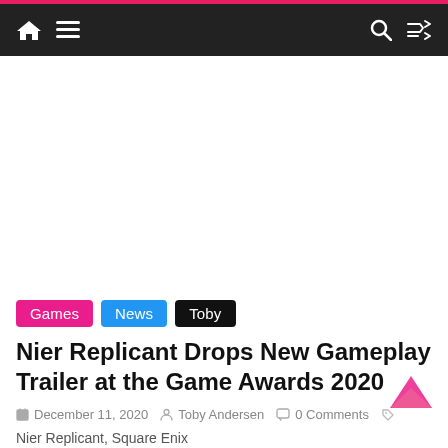Navigation bar with home, menu, search, and shuffle icons
[Figure (other): White advertisement/empty content area]
Games  News  Toby
Nier Replicant Drops New Gameplay Trailer at the Game Awards 2020
December 11, 2020  Toby Andersen  0 Comments
Nier Replicant, Square Enix